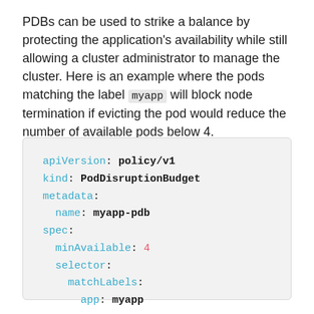PDBs can be used to strike a balance by protecting the application's availability while still allowing a cluster administrator to manage the cluster. Here is an example where the pods matching the label myapp will block node termination if evicting the pod would reduce the number of available pods below 4.
[Figure (screenshot): YAML code block showing a PodDisruptionBudget configuration with apiVersion: policy/v1, kind: PodDisruptionBudget, metadata name: myapp-pdb, spec minAvailable: 4, selector matchLabels app: myapp]